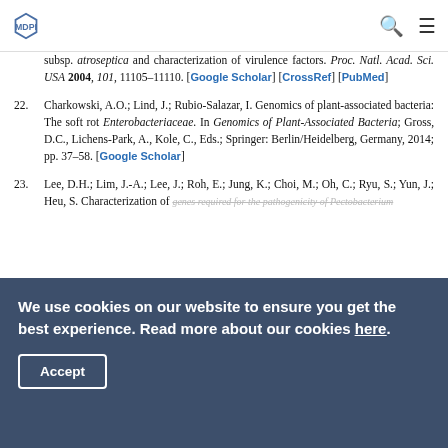MDPI
subsp. atroseptica and characterization of virulence factors. Proc. Natl. Acad. Sci. USA 2004, 101, 11105–11110. [Google Scholar] [CrossRef] [PubMed]
22. Charkowski, A.O.; Lind, J.; Rubio-Salazar, I. Genomics of plant-associated bacteria: The soft rot Enterobacteriaceae. In Genomics of Plant-Associated Bacteria; Gross, D.C., Lichens-Park, A., Kole, C., Eds.; Springer: Berlin/Heidelberg, Germany, 2014; pp. 37–58. [Google Scholar]
23. Lee, D.H.; Lim, J.-A.; Lee, J.; Roh, E.; Jung, K.; Choi, M.; Oh, C.; Ryu, S.; Yun, J.; Heu, S. Characterization of genes required for the pathogenicity of Pectobacterium...
We use cookies on our website to ensure you get the best experience. Read more about our cookies here.